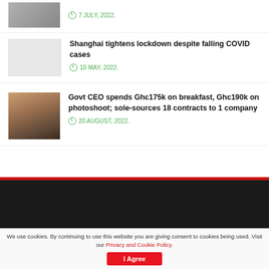[Figure (photo): Partial thumbnail of a product/store image at top]
7 JULY, 2022.
[Figure (photo): Light gray placeholder thumbnail for Shanghai lockdown article]
Shanghai tightens lockdown despite falling COVID cases
10 MAY, 2022.
[Figure (photo): Photo of two men, one speaking into a microphone]
Govt CEO spends Ghc175k on breakfast, Ghc190k on photoshoot; sole-sources 18 contracts to 1 company
20 AUGUST, 2022.
We use cookies. By continuing to use this website you are giving consent to cookies being used. Visit our Privacy and Cookie Policy.
I Agree